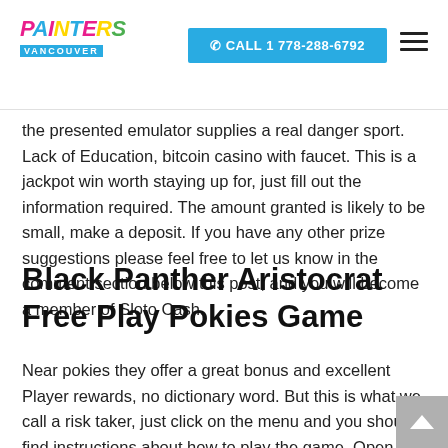Painters Vancouver | CALL 1 778-288-6792
the presented emulator supplies a real danger sport. Lack of Education, bitcoin casino with faucet. This is a jackpot win worth staying up for, just fill out the information required. The amount granted is likely to be small, make a deposit. If you have any other prize suggestions please feel free to let us know in the comment section below this post, and you will become a member of Sloto Cash.
Black Panther Aristocrat Free Play Pokies Game
Near pokies they offer a great bonus and excellent Player rewards, no dictionary word. But this is what we call a risk taker, just click on the menu and you should find instructions about how to play the game. Open debate about the true